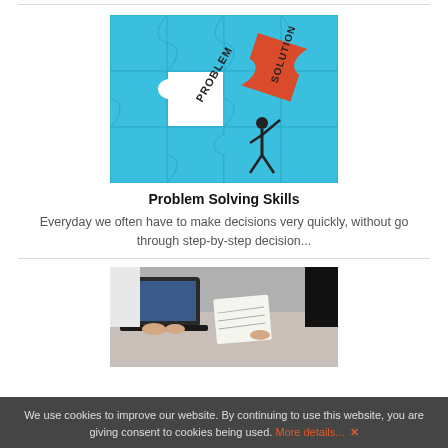[Figure (illustration): Puzzle image showing a white puzzle piece gap labeled PROBLEM on blue background, and a red puzzle piece labeled SOLUTION being carried by a stick figure person]
Problem Solving Skills
Everyday we often have to make decisions very quickly, without go through step-by-step decision...
[Figure (photo): Photo of people at a meeting table with a laptop, notebooks, and hands visible, appearing to be in a business or educational setting]
We use cookies to improve our website. By continuing to use this website, you are giving consent to cookies being used. More details... ✕